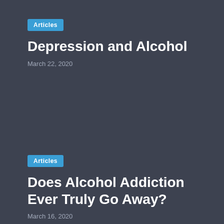Articles
Depression and Alcohol
March 22, 2020
Articles
Does Alcohol Addiction Ever Truly Go Away?
March 16, 2020